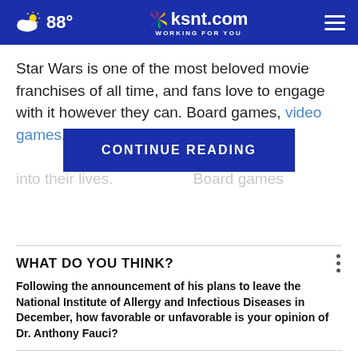88° | ksnt.com WORKING FOR YOU
Star Wars is one of the most beloved movie franchises of all time, and fans love to engage with it however they can. Board games, video games, expanded novels and so on are Star Wars into their lives. Board games
CONTINUE READING
WHAT DO YOU THINK?
Following the announcement of his plans to leave the National Institute of Allergy and Infectious Diseases in December, how favorable or unfavorable is your opinion of Dr. Anthony Fauci?
Highly favorable
Somewhat favorable